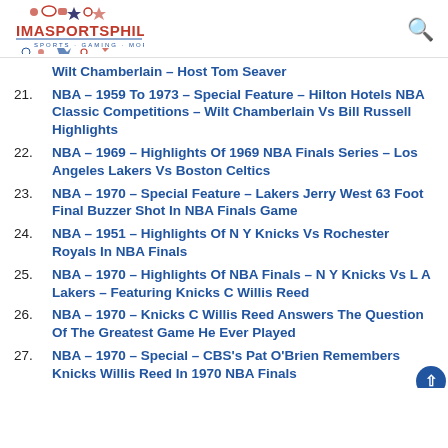IMASPORTSPHILE
Wilt Chamberlain – Host Tom Seaver
21. NBA – 1959 To 1973 – Special Feature – Hilton Hotels NBA Classic Competitions – Wilt Chamberlain Vs Bill Russell Highlights
22. NBA – 1969 – Highlights Of 1969 NBA Finals Series – Los Angeles Lakers Vs Boston Celtics
23. NBA – 1970 – Special Feature – Lakers Jerry West 63 Foot Final Buzzer Shot In NBA Finals Game
24. NBA – 1951 – Highlights Of N Y Knicks Vs Rochester Royals In NBA Finals
25. NBA – 1970 – Highlights Of NBA Finals – N Y Knicks Vs L A Lakers – Featuring Knicks C Willis Reed
26. NBA – 1970 – Knicks C Willis Reed Answers The Question Of The Greatest Game He Ever Played
27. NBA – 1970 – Special – CBS's Pat O'Brien Remembers Knicks Willis Reed In 1970 NBA Finals